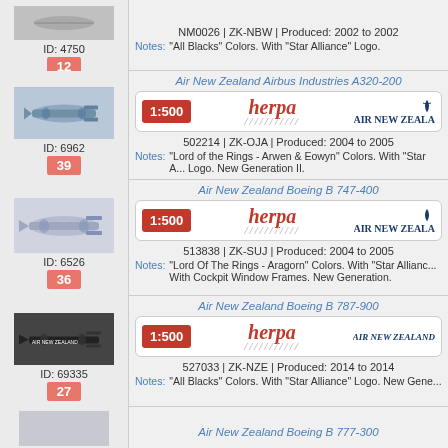ID: 4750 | 12
NM0026 | ZK-NBW | Produced: 2002 to 2002
Notes: "All Blacks" Colors. With "Star Alliance" Logo.
Air New Zealand Airbus Industries A320-200
ID: 6962 | 39
502214 | ZK-OJA | Produced: 2004 to 2005
Notes: "Lord of the Rings - Arwen & Eowyn" Colors. With "Star Alliance" Logo. New Generation II.
Air New Zealand Boeing B 747-400
ID: 6526 | 36
513838 | ZK-SUJ | Produced: 2004 to 2005
Notes: "Lord Of The Rings - Aragorn" Colors. With "Star Alliance" Logo. With Cockpit Window Frames. New Generation.
Air New Zealand Boeing B 787-900
ID: 69335 | 27
527033 | ZK-NZE | Produced: 2014 to 2014
Notes: "All Blacks" Colors. With "Star Alliance" Logo. New Gene...
Air New Zealand Boeing B 777-300